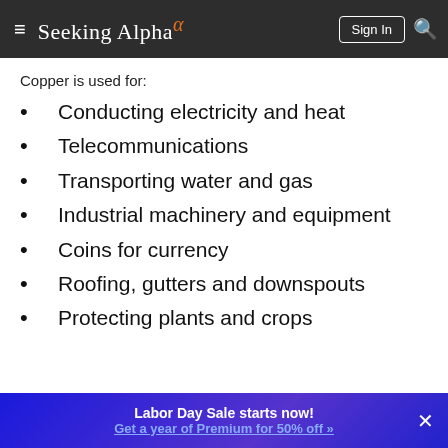Seeking Alpha
Copper is used for:
Conducting electricity and heat
Telecommunications
Transporting water and gas
Industrial machinery and equipment
Coins for currency
Roofing, gutters and downspouts
Protecting plants and crops
Labor Day Sale starts now! Get a year of Premium for 50% off »